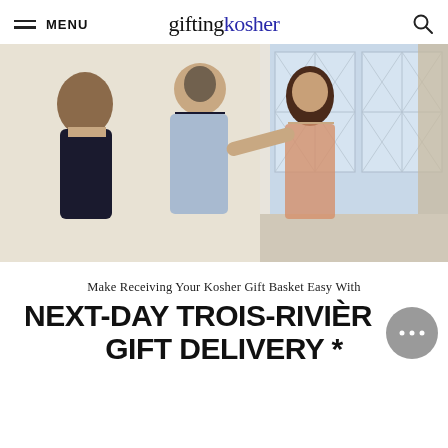MENU  giftingkosher
[Figure (photo): A family scene indoors: a man in a light blue shirt stands with two girls, one younger with long hair on the left, one older embracing him on the right. Bright windows with diamond-pane glass in the background.]
Make Receiving Your Kosher Gift Basket Easy With
NEXT-DAY TROIS-RIVIÈRES GIFT DELIVERY *